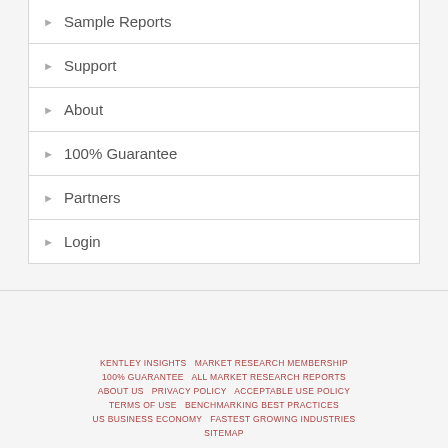▶ Sample Reports
▶ Support
▶ About
▶ 100% Guarantee
▶ Partners
▶ Login
KENTLEY INSIGHTS  MARKET RESEARCH MEMBERSHIP  100% GUARANTEE  ALL MARKET RESEARCH REPORTS  ABOUT US  PRIVACY POLICY  ACCEPTABLE USE POLICY  TERMS OF USE  BENCHMARKING BEST PRACTICES  US BUSINESS ECONOMY  FASTEST GROWING INDUSTRIES  SITEMAP